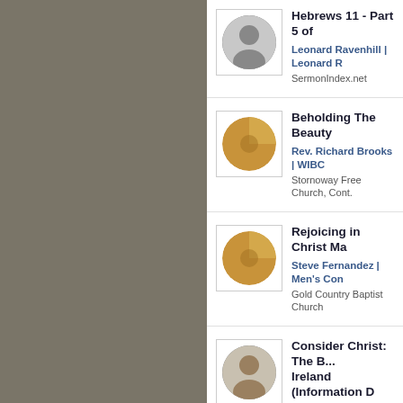Hebrews 11 - Part 5 of... | Leonard Ravenhill | Leonard R... | SermonIndex.net
Beholding The Beauty... | Rev. Richard Brooks | WIBC... | Stornoway Free Church, Cont...
Rejoicing in Christ Ma... | Steve Fernandez | Men's Con... | Gold Country Baptist Church
Consider Christ: The B... Ireland (Information D... | Rev Ian Brown | Consider Ch... | Londonderry Free Presbyterian...
Distinguishing Marks of... Jonathan Edwards | Jonathan Edwards | Jonathan... | Still Waters Revival Books